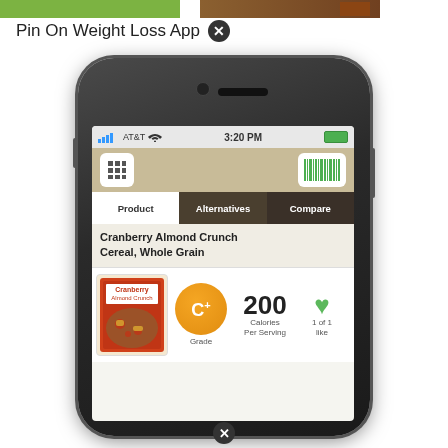[Figure (screenshot): Top banner with green and brown image strips]
Pin On Weight Loss App ✕
[Figure (screenshot): iPhone screenshot showing a food tracking app with Cranberry Almond Crunch Cereal, Whole Grain product. Status bar shows AT&T carrier, 3:20 PM time. App has Product/Alternatives/Compare tabs. Shows product image, C+ grade, 200 Calories Per Serving, and 1 of 1 like.]
✕